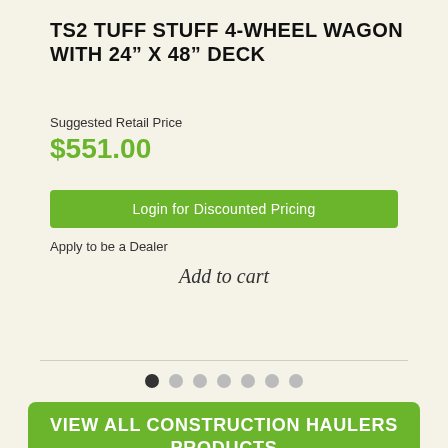TS2 TUFF STUFF 4-WHEEL WAGON WITH 24" X 48" DECK
Suggested Retail Price
$551.00
Login for Discounted Pricing
Apply to be a Dealer
Add to cart
VIEW ALL CONSTRUCTION HAULERS PRODUCTS